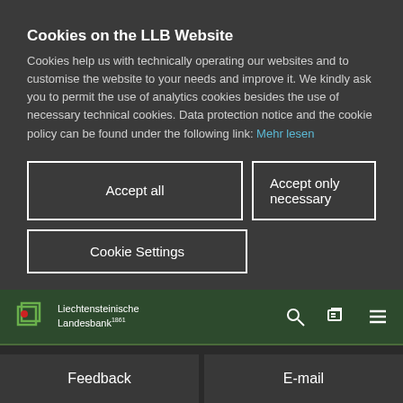Cookies on the LLB Website
Cookies help us with technically operating our websites and to customise the website to your needs and improve it. We kindly ask you to permit the use of analytics cookies besides the use of necessary technical cookies. Data protection notice and the cookie policy can be found under the following link: Mehr lesen
Accept all
Accept only necessary
Cookie Settings
[Figure (logo): Liechtensteinische Landesbank logo with green and red icon and navigation icons (search, account, menu)]
Feedback
E-mail